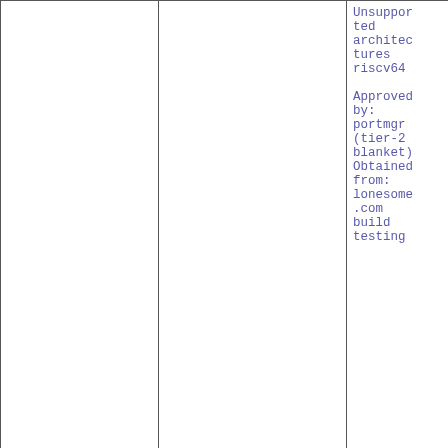| Date/Version | Author | Commit Message |
| --- | --- | --- |
|  |  | Unsupported architectures riscv64

Approved by: portmgr (tier-2 blanket)
Obtained from: lonesome.com build testing |
| 14 Jul 2019 02:25:46
[icons] 0.4.0 | skreuzer [search] | Add files/directory which was missed in the previous commit |
| 14 Jul 2019 02:24:51
[icons] 0.4.0 | skreuzer [search] | Update to version |